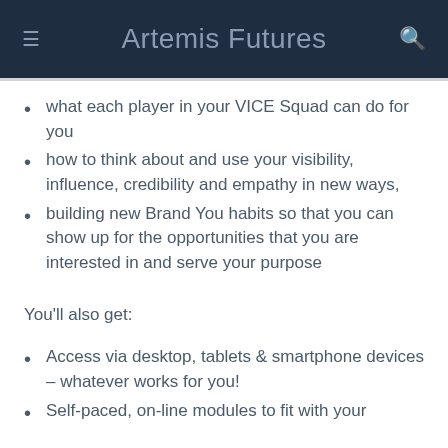Artemis Futures
what each player in your VICE Squad can do for you
how to think about and use your visibility, influence, credibility and empathy in new ways,
building new Brand You habits so that you can show up for the opportunities that you are interested in and serve your purpose
You'll also get:
Access via desktop, tablets & smartphone devices – whatever works for you!
Self-paced, on-line modules to fit with your